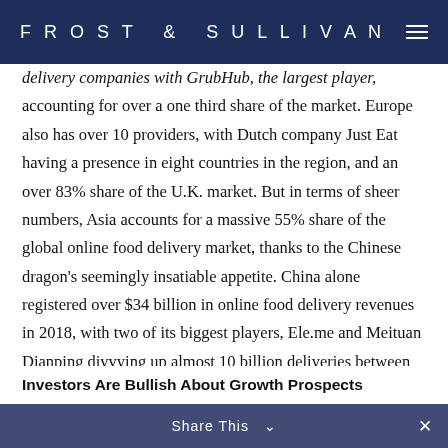FROST & SULLIVAN
delivery companies with GrubHub, the largest player, accounting for over a one third share of the market. Europe also has over 10 providers, with Dutch company Just Eat having a presence in eight countries in the region, and an over 83% share of the U.K. market. But in terms of sheer numbers, Asia accounts for a massive 55% share of the global online food delivery market, thanks to the Chinese dragon’s seemingly insatiable appetite. China alone registered over $34 billion in online food delivery revenues in 2018, with two of its biggest players, Ele.me and Meituan Dianping divvying up almost 10 billion deliveries between them last year.
Investors Are Bullish About Growth Prospects